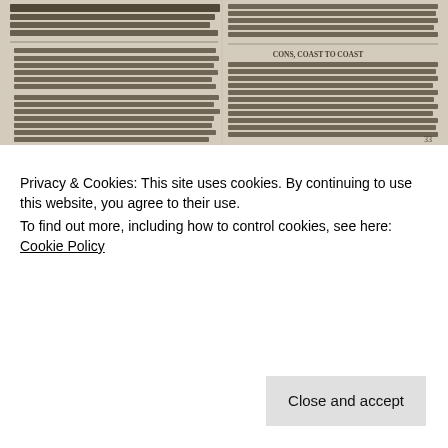[Figure (screenshot): Scanned page from a science fiction magazine column. Two-column text layout on aged paper. Left column discusses science fiction fans and comics fans, mentions UNKNOWN WORLDS OF SCIENCE FICTION (Unk), correspondence between fans, fan clubs, fan magazines, and conventions. Mentions Locus published by Dana & Charlie Brown, P.O. Box 3938, San Francisco, CA 94119. Right column continues with text about science fiction magazine contents and a section headed CONS, COAST TO COAST about attending science fiction conventions. Page number 33 visible at bottom right. Horizontal rule between sections.]
[Figure (screenshot): Scanned black and white comic strip panels. Shows a robot or mechanical figure on the left side. Right panel contains speech/caption text reading: THIS IS THE MORNING EVERYONE HAS WAITED FOR. WHEN AT CALLED... THE ROBOT CARDINAL IS TO BE ELECTED POPE. THE CARDINAL IS BACKED BY THE ECUMENICAL ADVOCATES OF TOLERANCE, INCLUDING THE DALAI LAMA AND THE CHIEF RABBI OF LONDON, AND WORD HAS GONE OUT THAT A COMPROMISE IS IN THE MAKING. Bottom text reads: THIS MORNING I READ IN THE OBSERVATORE ROMANSE THAT...]
Privacy & Cookies: This site uses cookies. By continuing to use this website, you agree to their use.
To find out more, including how to control cookies, see here: Cookie Policy
Close and accept